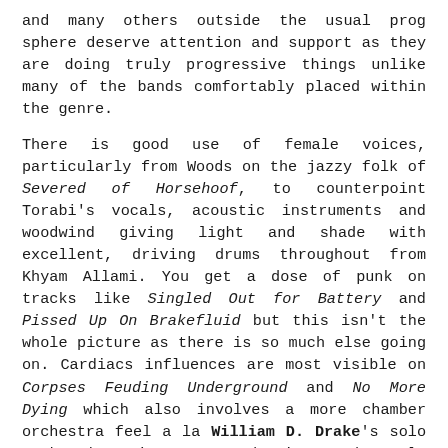and many others outside the usual prog sphere deserve attention and support as they are doing truly progressive things unlike many of the bands comfortably placed within the genre.
There is good use of female voices, particularly from Woods on the jazzy folk of Severed of Horsehoof, to counterpoint Torabi's vocals, acoustic instruments and woodwind giving light and shade with excellent, driving drums throughout from Khyam Allami. You get a dose of punk on tracks like Singled Out for Battery and Pissed Up On Brakefluid but this isn't the whole picture as there is so much else going on. Cardiacs influences are most visible on Corpses Feuding Underground and No More Dying which also involves a more chamber orchestra feel a la William D. Drake's solo work. There is space rock, jazz and metal, overtly prog sections appearing in The Wretched Fathoms and Unwreckaged. Good God, we even get a Queen-like guitar orchestra on Torch!